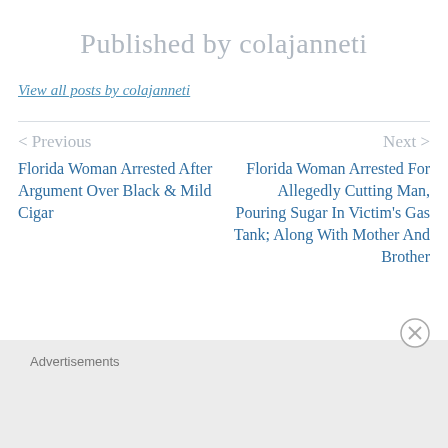Published by colajanneti
View all posts by colajanneti
< Previous
Florida Woman Arrested After Argument Over Black & Mild Cigar
Next >
Florida Woman Arrested For Allegedly Cutting Man, Pouring Sugar In Victim's Gas Tank; Along With Mother And Brother
Advertisements